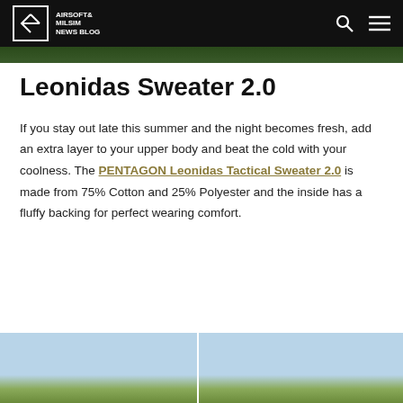AIRSOFT & MILSIM NEWS BLOG
Leonidas Sweater 2.0
If you stay out late this summer and the night becomes fresh, add an extra layer to your upper body and beat the cold with your coolness. The PENTAGON Leonidas Tactical Sweater 2.0 is made from 75% Cotton and 25% Polyester and the inside has a fluffy backing for perfect wearing comfort.
[Figure (photo): Two outdoor photos of person wearing the Leonidas Sweater 2.0, shown from the waist up against a sky and tree line background]